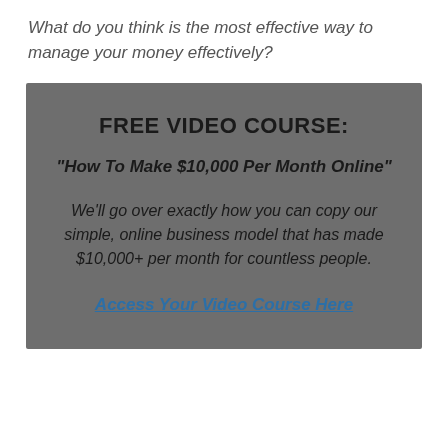What do you think is the most effective way to manage your money effectively?
[Figure (infographic): Dark gray promotional box for a free video course titled 'FREE VIDEO COURSE: How To Make $10,000 Per Month Online' with body text and a link 'Access Your Video Course Here']